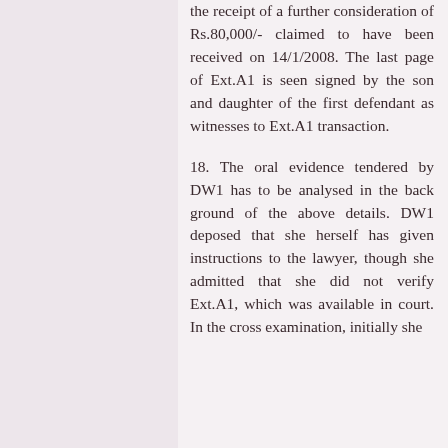the receipt of a further consideration of Rs.80,000/- claimed to have been received on 14/1/2008. The last page of Ext.A1 is seen signed by the son and daughter of the first defendant as witnesses to Ext.A1 transaction.
18. The oral evidence tendered by DW1 has to be analysed in the back ground of the above details. DW1 deposed that she herself has given instructions to the lawyer, though she admitted that she did not verify Ext.A1, which was available in court. In the cross examination, initially she